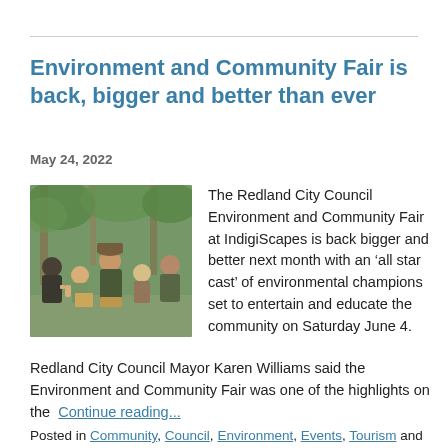Environment and Community Fair is back, bigger and better than ever
May 24, 2022
[Figure (photo): Group of adults and children smiling outdoors at a table, giving thumbs up, in a green wooded setting.]
The Redland City Council Environment and Community Fair at IndigiScapes is back bigger and better next month with an ‘all star cast’ of environmental champions set to entertain and educate the community on Saturday June 4.
Redland City Council Mayor Karen Williams said the Environment and Community Fair was one of the highlights on the  Continue reading...
Posted in Community, Council, Environment, Events, Tourism and